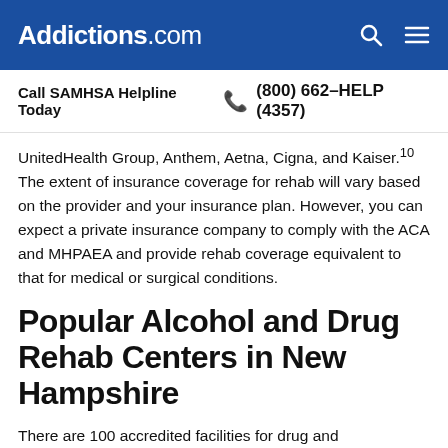Addictions.com
Call SAMHSA Helpline Today  (800) 662-HELP (4357)
UnitedHealth Group, Anthem, Aetna, Cigna, and Kaiser.10 The extent of insurance coverage for rehab will vary based on the provider and your insurance plan. However, you can expect a private insurance company to comply with the ACA and MHPAEA and provide rehab coverage equivalent to that for medical or surgical conditions.
Popular Alcohol and Drug Rehab Centers in New Hampshire
There are 100 accredited facilities for drug and